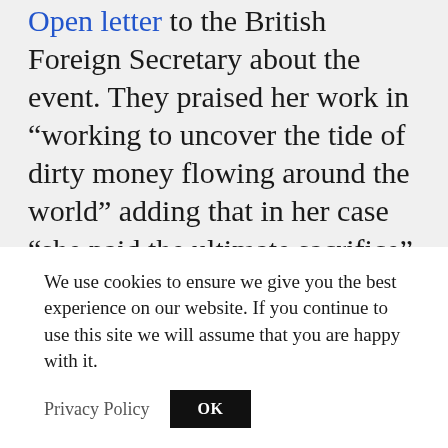Open letter to the British Foreign Secretary about the event. They praised her work in “working to uncover the tide of dirty money flowing around the world” adding that in her case “she paid the ultimate sacrifice” just for doing her job.
Hardis Kjerulf Thorgeirsdottir from the Venice Commission observed that during the Commission’s visit to Malta
We use cookies to ensure we give you the best experience on our website. If you continue to use this site we will assume that you are happy with it.
Privacy Policy | OK